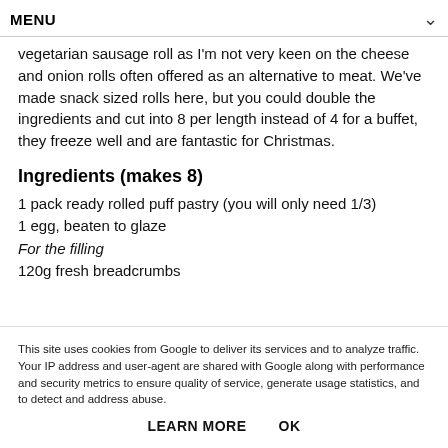MENU
vegetarian sausage roll as I'm not very keen on the cheese and onion rolls often offered as an alternative to meat. We've made snack sized rolls here, but you could double the ingredients and cut into 8 per length instead of 4 for a buffet, they freeze well and are fantastic for Christmas.
Ingredients (makes 8)
1 pack ready rolled puff pastry (you will only need 1/3)
1 egg, beaten to glaze
For the filling
120g fresh breadcrumbs
This site uses cookies from Google to deliver its services and to analyze traffic. Your IP address and user-agent are shared with Google along with performance and security metrics to ensure quality of service, generate usage statistics, and to detect and address abuse.
LEARN MORE    OK